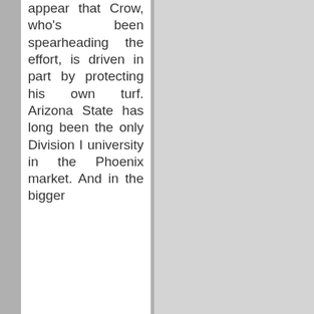appear that Crow, who's been spearheading the effort, is driven in part by protecting his own turf. Arizona State has long been the only Division I university in the Phoenix market. And in the bigger